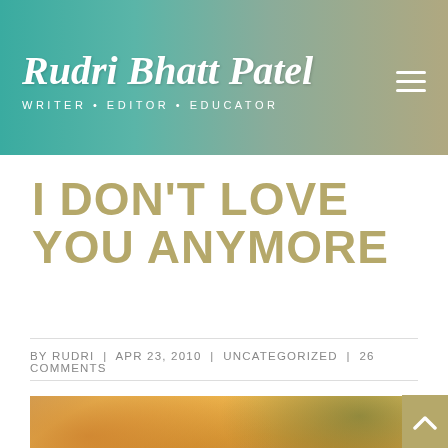Rudri Bhatt Patel · WRITER • EDITOR • EDUCATOR
I DON'T LOVE YOU ANYMORE
BY RUDRI | APR 23, 2010 | UNCATEGORIZED | 26 COMMENTS
[Figure (photo): Heart-shaped pastry on a plate with sauce and garnish]